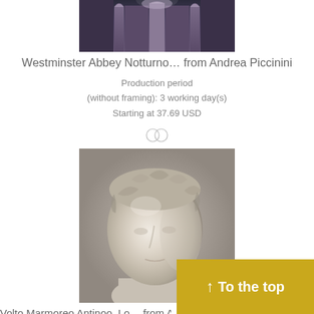[Figure (photo): Top portion of a photo of Westminster Abbey at night, showing gothic architectural details]
Westminster Abbey Notturno… from Andrea Piccinini
Production period
(without framing): 3 working day(s)
Starting at 37.69 USD
[Figure (illustration): Small divider icon with two overlapping circles]
[Figure (photo): Marble bust sculpture of Antinoo (Antinous) showing detailed curly hair with leaves, classical Roman style]
Volto Marmoreo Antinoo, Lo… from And…
Production period